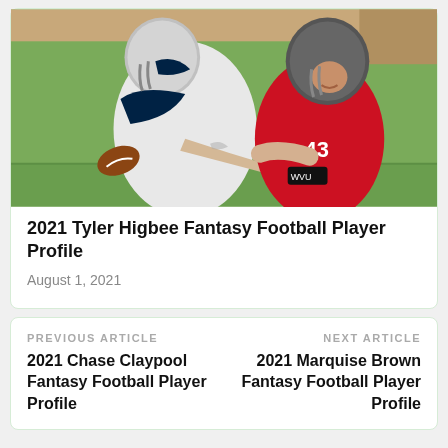[Figure (photo): Fantasy football stylized/illustrated photo of two NFL players — one in white/blue Rams uniform reaching for a ball, one in red jersey #43 — on a green field background]
2021 Tyler Higbee Fantasy Football Player Profile
August 1, 2021
PREVIOUS ARTICLE
2021 Chase Claypool Fantasy Football Player Profile
NEXT ARTICLE
2021 Marquise Brown Fantasy Football Player Profile